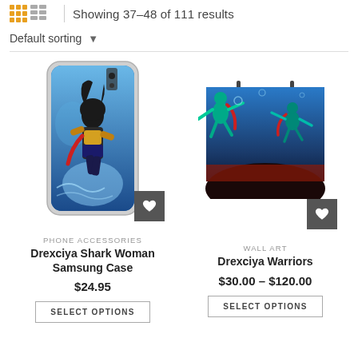Showing 37–48 of 111 results
Default sorting
[Figure (photo): Drexciya Shark Woman Samsung phone case with underwater themed artwork]
PHONE ACCESSORIES
Drexciya Shark Woman Samsung Case
$24.95
SELECT OPTIONS
[Figure (photo): Drexciya Warriors wall art poster with underwater battle scene]
WALL ART
Drexciya Warriors
$30.00 – $120.00
SELECT OPTIONS